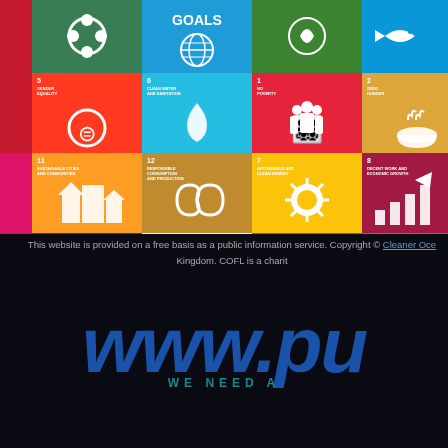[Figure (infographic): UN Sustainable Development Goals (SDGs) icon tiles grid showing colored icons for multiple SDGs including Quality Education, Gender Equality, Clean Water, No Poverty, Zero Hunger, Good Health, Reduced Inequalities, Sustainable Cities, Responsible Consumption, Affordable Energy, Decent Work, Industry Innovation, Peace Justice, Partnerships, Climate Action, Life Below Water, Life on Land, with central Sustainable Development Goals logo]
This website is provided on a free basis as a public information service. Copyright © Cleaner Oce... Kingdom. COFL is a charit...
www.pu WE NEED A